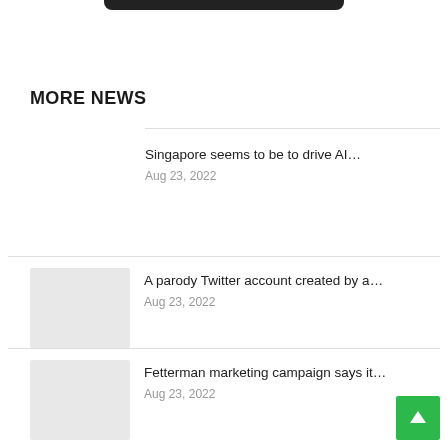MORE NEWS
Singapore seems to be to drive AI…
Aug 23, 2022
A parody Twitter account created by a…
Aug 23, 2022
Fetterman marketing campaign says it…
Aug 23, 2022